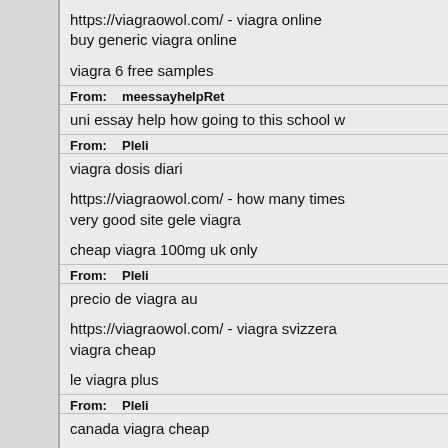https://viagraowol.com/ - viagra online buy generic viagra online
viagra 6 free samples
From: meessayhelpRet
uni essay help how going to this school w
From: Pleli
viagra dosis diari
https://viagraowol.com/ - how many times very good site gele viagra
cheap viagra 100mg uk only
From: Pleli
precio de viagra au
https://viagraowol.com/ - viagra svizzera viagra cheap
le viagra plus
From: Pleli
canada viagra cheap